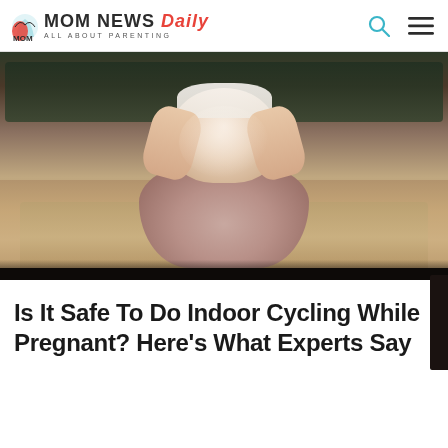MOM NEWS Daily — ALL ABOUT PARENTING
[Figure (photo): Pregnant woman sitting cross-legged on a rug on the floor, wearing a white sports bra and pink/mauve loose pants, hands cradling her belly bump. Background shows a dark green sofa and wooden floor.]
Is It Safe To Do Indoor Cycling While Pregnant? Here's What Experts Say